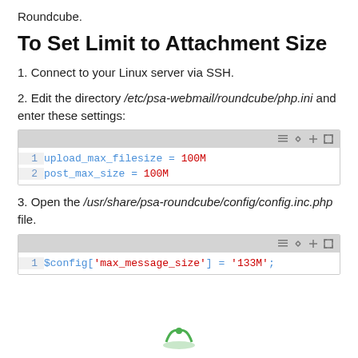Roundcube.
To Set Limit to Attachment Size
1. Connect to your Linux server via SSH.
2. Edit the directory /etc/psa-webmail/roundcube/php.ini and enter these settings:
[Figure (screenshot): Code block showing: 1  upload_max_filesize = 100M   2  post_max_size = 100M]
3. Open the /usr/share/psa-roundcube/config/config.inc.php file.
[Figure (screenshot): Code block showing: 1  $config['max_message_size'] = '133M';]